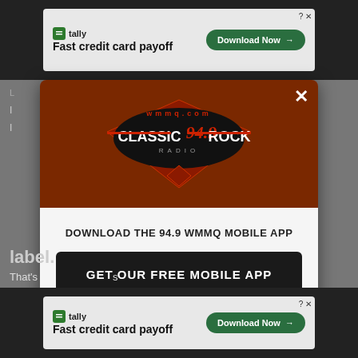[Figure (screenshot): Top advertisement banner for Tally - Fast credit card payoff with Download Now button]
[Figure (screenshot): Modal popup for 94.9 WMMQ Classic Rock Radio mobile app download with brown header logo, GET OUR FREE MOBILE APP button, and Also listen on Amazon Alexa]
[Figure (screenshot): Bottom advertisement banner for Tally - Fast credit card payoff with Download Now button]